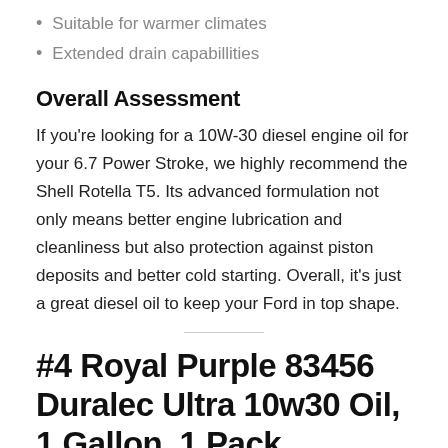Suitable for warmer climates
Extended drain capabillities
Overall Assessment
If you're looking for a 10W-30 diesel engine oil for your 6.7 Power Stroke, we highly recommend the Shell Rotella T5. Its advanced formulation not only means better engine lubrication and cleanliness but also protection against piston deposits and better cold starting. Overall, it's just a great diesel oil to keep your Ford in top shape.
#4 Royal Purple 83456 Duralec Ultra 10w30 Oil, 1 Gallon, 1 Pack